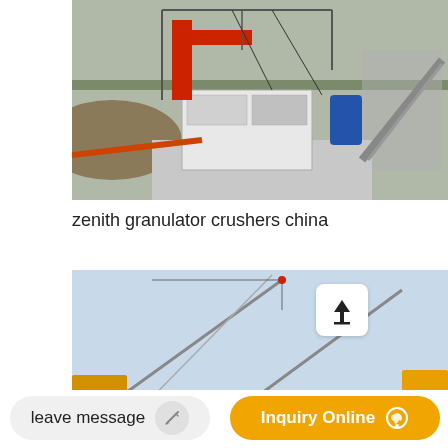[Figure (photo): Industrial crusher/granulator machine mounted on a concrete platform at an outdoor site in China, with metal framework, conveyor belts, and construction equipment visible in the background.]
zenith granulator crushers china
[Figure (photo): Outdoor industrial site with crane or conveyor arm structures visible against a blue sky, with yellow/orange industrial equipment parts visible at the edges.]
leave message
Inquiry Online